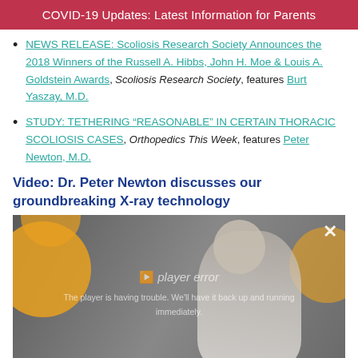COVID-19 Updates: Latest Information for Parents
NEWS RELEASE: Scoliosis Research Society Announces the 2018 Winners of the Russell A. Hibbs, John H. Moe & Louis A. Goldstein Awards, Scoliosis Research Society, features Burt Yaszay, M.D.
STUDY: TETHERING “REASONABLE” IN CERTAIN THORACIC SCOLIOSIS CASES, Orthopedics This Week, features Peter Newton, M.D.
Video: Dr. Peter Newton discusses our groundbreaking X-ray technology
[Figure (photo): Video thumbnail showing a doctor in a white coat with a player error message overlay. Background has orange blobs and grey tones. An X close button is in the top right. Text reads: 'The player is having trouble. We'll have it back up and running immediately.']